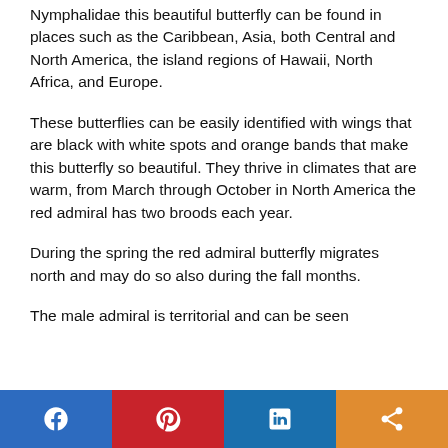Nymphalidae this beautiful butterfly can be found in places such as the Caribbean, Asia, both Central and North America, the island regions of Hawaii, North Africa, and Europe.
These butterflies can be easily identified with wings that are black with white spots and orange bands that make this butterfly so beautiful. They thrive in climates that are warm, from March through October in North America the red admiral has two broods each year.
During the spring the red admiral butterfly migrates north and may do so also during the fall months.
The male admiral is territorial and can be seen